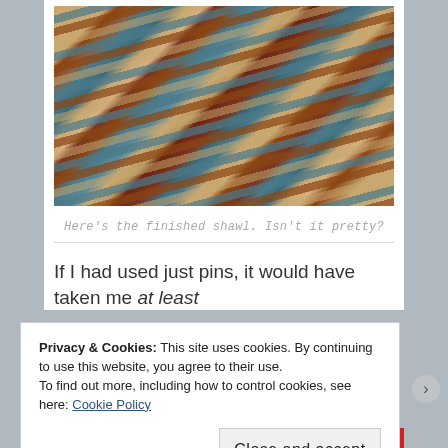[Figure (photo): A finished knitted shawl with multicolor zigzag/wave pattern in teal, brown, and tan colors, laid out on a wooden floor surface.]
Here's the finished shawl. Isn't it pretty?
If I had used just pins, it would have taken me at least
Privacy & Cookies: This site uses cookies. By continuing to use this website, you agree to their use.
To find out more, including how to control cookies, see here: Cookie Policy
Close and accept